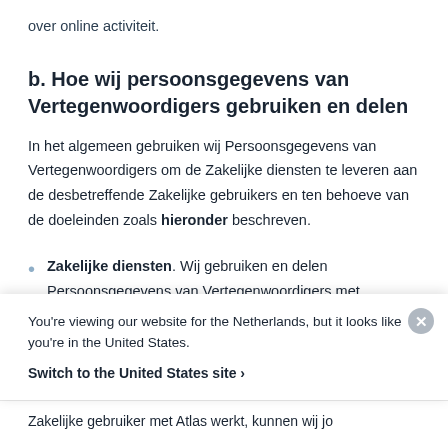over online activiteit.
b. Hoe wij persoonsgegevens van Vertegenwoordigers gebruiken en delen
In het algemeen gebruiken wij Persoonsgegevens van Vertegenwoordigers om de Zakelijke diensten te leveren aan de desbetreffende Zakelijke gebruikers en ten behoeve van de doeleinden zoals hieronder beschreven.
Zakelijke diensten. Wij gebruiken en delen Persoonsgegevens van Vertegenwoordigers met Zakelijke gebruikers om de Diensten te leveren
You're viewing our website for the Netherlands, but it looks like you're in the United States.
Switch to the United States site ›
Zakelijke gebruiker met Atlas werkt, kunnen wij jo